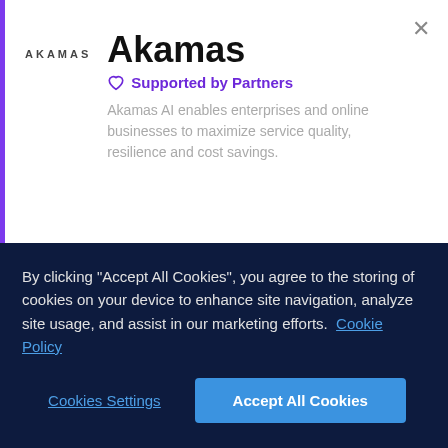Akamas
Supported by Partners
Akamas AI enables enterprises and online businesses to maximize service quality, resilience and cost savings.
Today IT stacks come with hundreds of configuration options that can dramatically improve application performance and resilience and also reduce costs. The complexity of this task defies...
By clicking "Accept All Cookies", you agree to the storing of cookies on your device to enhance site navigation, analyze site usage, and assist in our marketing efforts.  Cookie Policy
Cookies Settings
Accept All Cookies